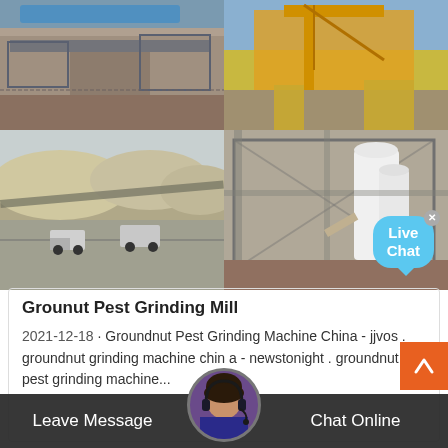[Figure (photo): Four industrial/mining photos in a 2x2 grid: top-left shows mining conveyor facility, top-right shows yellow mining machinery, bottom-left shows quarry with trucks and gravel piles, bottom-right shows white industrial silo/storage facility with Live Chat bubble overlay]
Grounut Pest Grinding Mill
2021-12-18 · Groundnut Pest Grinding Machine China - jjvos . groundnut grinding machine chin a - newstonight . groundnut pest grinding machine... china gnut grinding machines,grinding machine f cement china and, h se my blender mill to grind groundnut, gnut g ing machines, nut
Leave Message   Chat Online